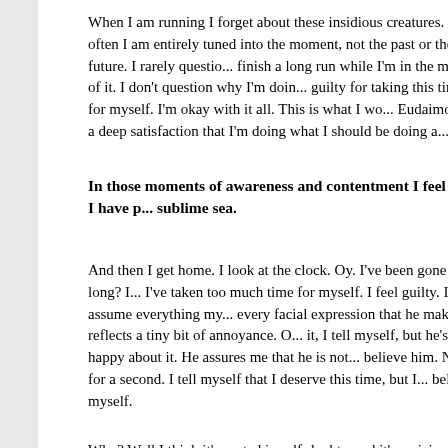When I am running I forget about these insidious creatures. More often I am entirely tuned into the moment, not the past or the future. I rarely question if I'll finish a long run while I'm in the midst of it. I don't question why I'm doing it or feel guilty for taking this time for myself. I'm okay with it all. This is what I would call Eudaimonia - a deep satisfaction that I'm doing what I should be doing a...
In those moments of awareness and contentment I feel that I have p... sublime sea.
And then I get home. I look at the clock. Oy. I've been gone that long? I... I've taken too much time for myself. I feel guilty. I assume everything my... every facial expression that he makes, reflects a tiny bit of annoyance. O... it, I tell myself, but he's not happy about it. He assures me that he is not... believe him. Not for a second. I tell myself that I deserve this time, but I... believe myself.
Why? Well I think it's rooted in self-doubt - and it's a vicious circle. I mea... all the time I spend running? I'm not very good. I'm not very fast. I don't e... And, I'm certainly not making any money with all this time spent running... running. In fact this isn't just a waste of time it's a waste of precious mo... spent better elsewhere. All those running shoes! All those entry fees! An... about all the physical therapy that is required to keep this ol' gal on the r... asking myself this 'how can I?' question for years and years - and while...